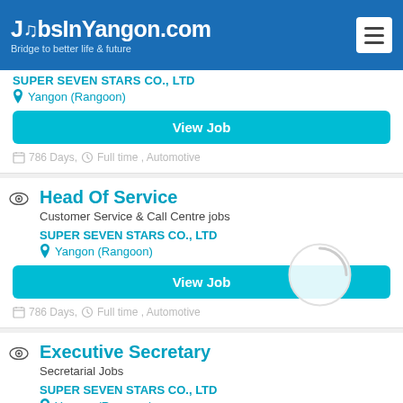JobsInYangon.com — Bridge to better life & future
SUPER SEVEN STARS CO., LTD
Yangon (Rangoon)
View Job
786 Days, Full time , Automotive
Head Of Service
Customer Service & Call Centre jobs
SUPER SEVEN STARS CO., LTD
Yangon (Rangoon)
View Job
786 Days, Full time , Automotive
Executive Secretary
Secretarial Jobs
SUPER SEVEN STARS CO., LTD
Yangon (Rangoon)
View Job